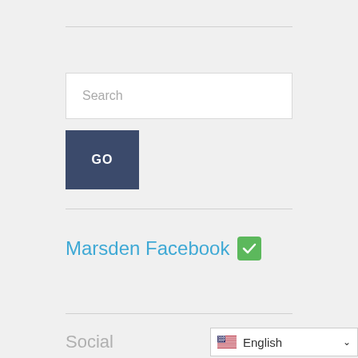[Figure (screenshot): Search input box with placeholder text 'Search']
[Figure (screenshot): Dark blue GO button]
Marsden Facebook ✅
Social
[Figure (screenshot): Language selector dropdown showing English with US flag]